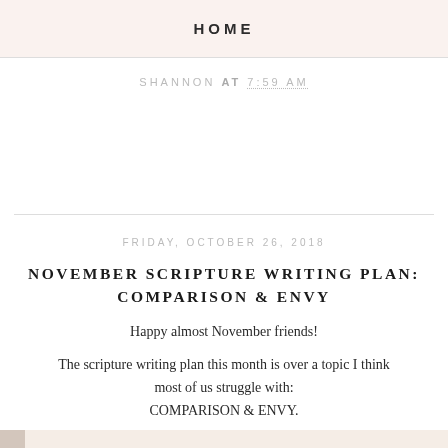HOME
SHANNON AT 7:59 AM
FRIDAY, OCTOBER 26, 2018
NOVEMBER SCRIPTURE WRITING PLAN: COMPARISON & ENVY
Happy almost November friends!
The scripture writing plan this month is over a topic I think most of us struggle with: COMPARISON & ENVY.
[Figure (photo): Autumn decorative photo featuring pinecones, dried leaves in orange and burgundy, small green apple, and other fall foliage arranged on a light background.]